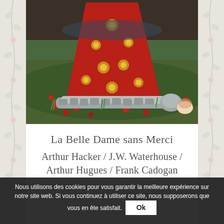[Figure (photo): A Pre-Raphaelite style painting showing a figure in red floral dress and a knight in silver armor lying in a field of red poppies and green grass — La Belle Dame sans Merci]
La Belle Dame sans Merci
Arthur Hacker / J.W. Waterhouse / Arthur Hugues / Frank Cadogan
Nous utilisons des cookies pour vous garantir la meilleure expérience sur notre site web. Si vous continuez à utiliser ce site, nous supposerons que vous en êtes satisfait. Ok